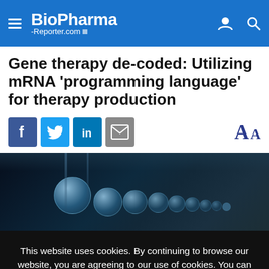BioPharma-Reporter.com
Gene therapy de-coded: Utilizing mRNA ‘programming language’ for therapy production
[Figure (screenshot): Social share icons (Facebook, Twitter, LinkedIn, Email) and font-size AA toggle]
[Figure (photo): Dark microscopy image showing glowing blue circular cell bubbles/droplets on a dark background]
This website uses cookies. By continuing to browse our website, you are agreeing to our use of cookies. You can learn more about cookies by visiting our privacy & cookies policy page.
I Agree